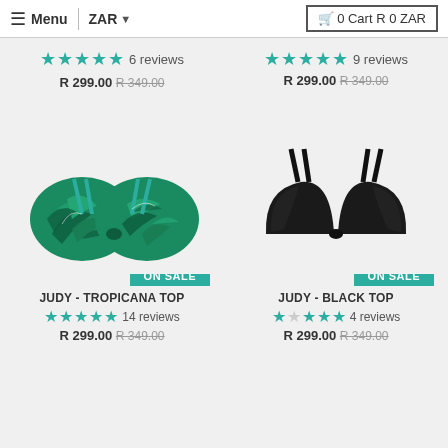Menu | ZAR | 0 Cart R 0 ZAR
[Figure (screenshot): Partial product row showing star ratings and prices at top of page (cut off)]
★★★★★ 6 reviews
R 299.00 R 349.00
★★★★★ 9 reviews
R 299.00 R 349.00
[Figure (photo): Green tropical leaf print triangle bikini top (Judy Tropicana Top) with double straps, ON SALE badge]
[Figure (photo): Black triangle bikini top (Judy Black Top) with double straps, ON SALE badge]
ON SALE
ON SALE
JUDY - TROPICANA TOP
JUDY - BLACK TOP
★★★★★ 14 reviews
R 299.00 R 349.00
★★★★★ 4 reviews
R 299.00 R 349.00